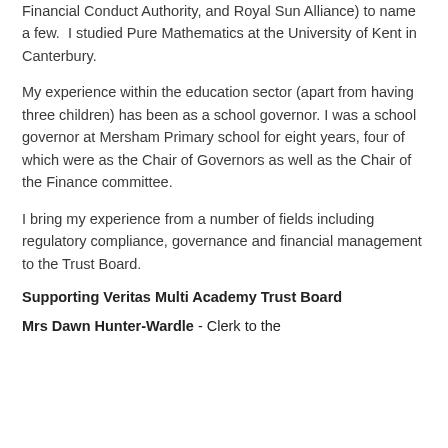Financial Conduct Authority, and Royal Sun Alliance) to name a few.  I studied Pure Mathematics at the University of Kent in Canterbury.
My experience within the education sector (apart from having three children) has been as a school governor. I was a school governor at Mersham Primary school for eight years, four of which were as the Chair of Governors as well as the Chair of the Finance committee.
I bring my experience from a number of fields including regulatory compliance, governance and financial management to the Trust Board.
Supporting Veritas Multi Academy Trust Board
Mrs Dawn Hunter-Wardle - Clerk to the